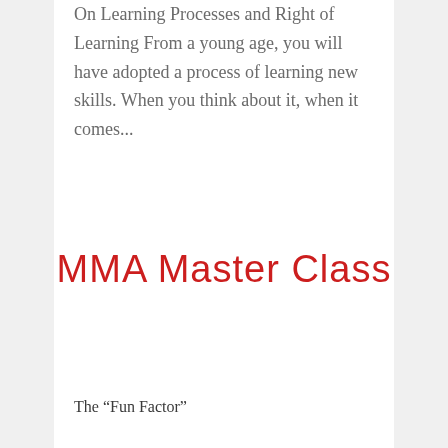On Learning Processes and Right of Learning From a young age, you will have adopted a process of learning new skills. When you think about it, when it comes...
MMA Master Class
The “Fun Factor”